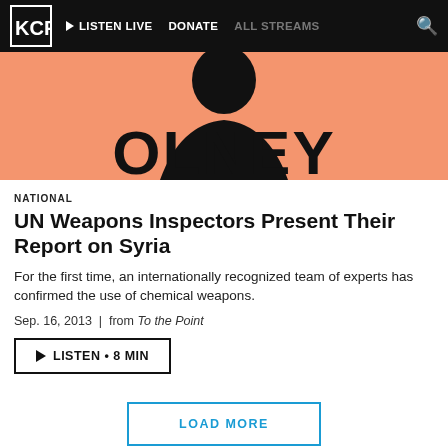KCRW | LISTEN LIVE  DONATE  ALL STREAMS
[Figure (illustration): Podcast/show artwork with salmon/peach background showing a black silhouette of a person and large bold text 'OLNEY']
NATIONAL
UN Weapons Inspectors Present Their Report on Syria
For the first time, an internationally recognized team of experts has confirmed the use of chemical weapons.
Sep. 16, 2013  |  from To the Point
▶ LISTEN • 8 MIN
LOAD MORE